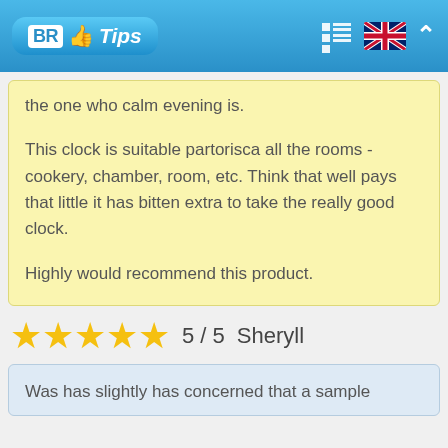BR Tips
the one who calm evening is.
This clock is suitable partorisca all the rooms - cookery, chamber, room, etc. Think that well pays that little it has bitten extra to take the really good clock.

Highly would recommend this product.
5 / 5  Sheryll
Was has slightly has concerned that a sample